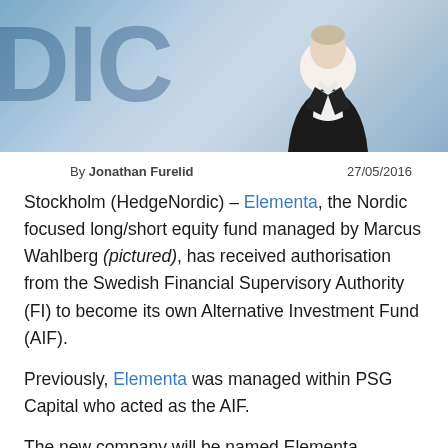[Figure (photo): Photo of a man in a dark suit and white shirt standing in front of a HedgeNordic branded background with large blue lettering 'DIC' visible]
By Jonathan Furelid    27/05/2016
Stockholm (HedgeNordic) – Elementa, the Nordic focused long/short equity fund managed by Marcus Wahlberg (pictured), has received authorisation from the Swedish Financial Supervisory Authority (FI) to become its own Alternative Investment Fund (AIF).
Previously, Elementa was managed within PSG Capital who acted as the AIF.
The new company will be named Elementa